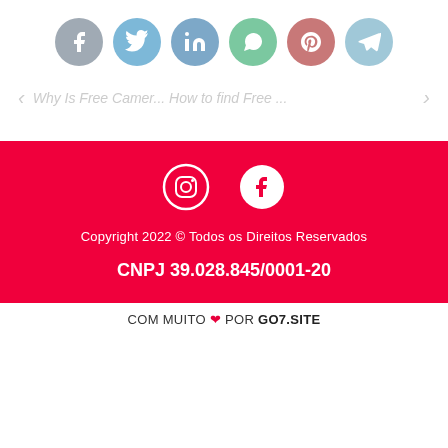[Figure (infographic): Row of six social media share buttons as colored circles: Facebook (gray-blue), Twitter (blue), LinkedIn (blue), WhatsApp (green), Pinterest (pink-red), Telegram (light blue). Each circle contains the respective white icon.]
Why Is Free Camer... How to find Free ...
[Figure (infographic): Footer section with red background containing Instagram and Facebook white icons, copyright text, and CNPJ number.]
COM MUITO ❤ POR GO7.SITE